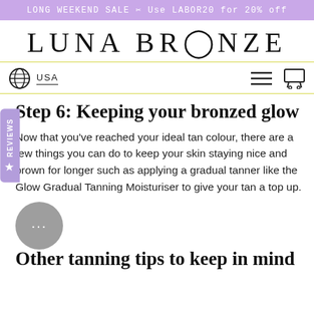LONG WEEKEND SALE 🏷 Use LABOR20 for 20% off
LUNA BRONZE
USA
Step 6: Keeping your bronzed glow
Now that you've reached your ideal tan colour, there are a few things you can do to keep your skin staying nice and brown for longer such as applying a gradual tanner like the Glow Gradual Tanning Moisturiser to give your tan a top up.
Other tanning tips to keep in mind